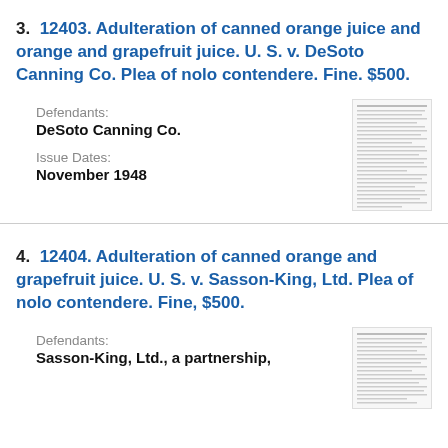3. 12403. Adulteration of canned orange juice and orange and grapefruit juice. U. S. v. DeSoto Canning Co. Plea of nolo contendere. Fine. $500.
Defendants:
DeSoto Canning Co.
Issue Dates:
November 1948
[Figure (other): Thumbnail image of a legal document page with dense text]
4. 12404. Adulteration of canned orange and grapefruit juice. U. S. v. Sasson-King, Ltd. Plea of nolo contendere. Fine, $500.
Defendants:
Sasson-King, Ltd., a partnership,
[Figure (other): Thumbnail image of a legal document page with dense text]